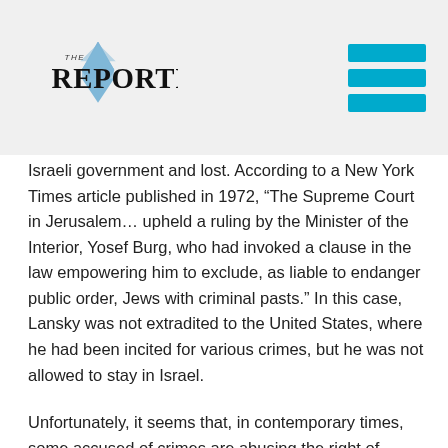[Figure (logo): The Reporter logo with Star of David graphic and serif/sans-serif title text]
Israeli government and lost. According to a New York Times article published in 1972, “The Supreme Court in Jerusalem… upheld a ruling by the Minister of the Interior, Yosef Burg, who had invoked a clause in the law empowering him to exclude, as liable to endanger public order, Jews with criminal pasts.” In this case, Lansky was not extradited to the United States, where he had been incited for various crimes, but he was not allowed to stay in Israel.
Unfortunately, it seems that, in contemporary times, some accused of crimes are abusing the right of return to escape justice. A report by CBS News has found that Americans accused of abusing children have fled to Israel in order not to be tried for their crimes. The Jewish Community Watch, an American group that started tracking accused pedophiles in 2014, has identified